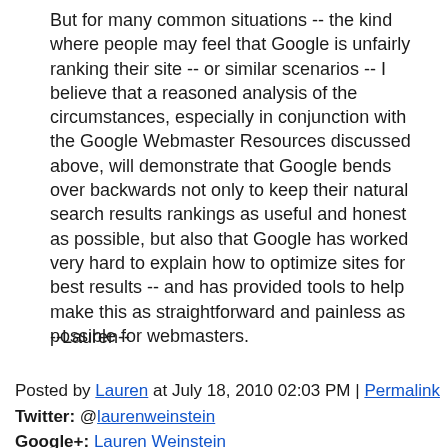But for many common situations -- the kind where people may feel that Google is unfairly ranking their site -- or similar scenarios -- I believe that a reasoned analysis of the circumstances, especially in conjunction with the Google Webmaster Resources discussed above, will demonstrate that Google bends over backwards not only to keep their natural search results rankings as useful and honest as possible, but also that Google has worked very hard to explain how to optimize sites for best results -- and has provided tools to help make this as straightforward and painless as possible for webmasters.
--Lauren--
Posted by Lauren at July 18, 2010 02:03 PM | Permalink Twitter: @laurenweinstein Google+: Lauren Weinstein